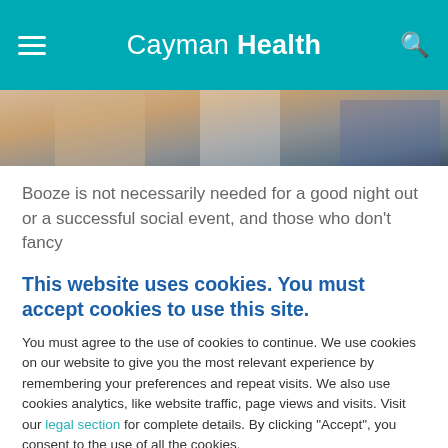Cayman Health
[Figure (photo): Cropped photo showing people at a social event or medical setting, hands and torsos visible]
Booze is not necessarily needed for a good night out or a successful social event, and those who don't fancy
This website uses cookies. You must accept cookies to use this site.
You must agree to the use of cookies to continue. We use cookies on our website to give you the most relevant experience by remembering your preferences and repeat visits. We also use cookies analytics, like website traffic, page views and visits. Visit our legal section for complete details. By clicking "Accept", you consent to the use of all the cookies.
Accept